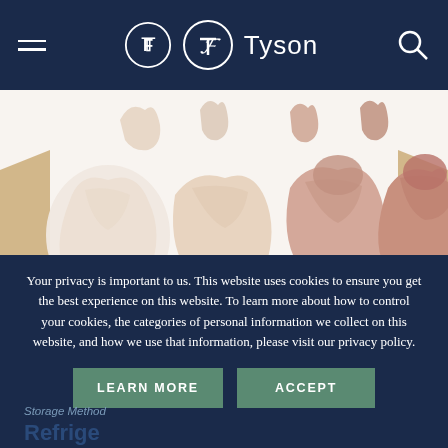Tyson
[Figure (photo): Four raw chicken parts (breasts/thighs) displayed on white background with brown cardboard box visible on edges]
Your privacy is important to us. This website uses cookies to ensure you get the best experience on this website. To learn more about how to control your cookies, the categories of personal information we collect on this website, and how we use that information, please visit our privacy policy.
Storage Method
Refrige